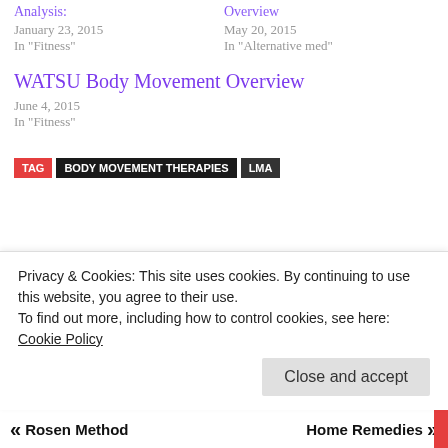Analysis:
January 23, 2015
In "Fitness"
Overview
May 20, 2015
In "Alternative med"
WATSU Body Movement Overview
June 4, 2015
In "Fitness"
TAG   BODY MOVEMENT THERAPIES   LMA
Privacy & Cookies: This site uses cookies. By continuing to use this website, you agree to their use.
To find out more, including how to control cookies, see here: Cookie Policy
Close and accept
« Rosen Method
Home Remedies »